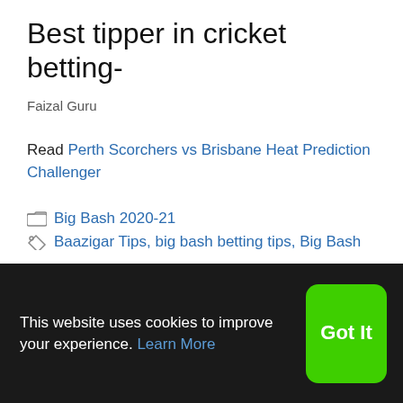Best tipper in cricket betting-
Faizal Guru
Read Perth Scorchers vs Brisbane Heat Prediction Challenger
Big Bash 2020-21
Baazigar Tips, big bash betting tips, Big Bash
This website uses cookies to improve your experience. Learn More
Got It